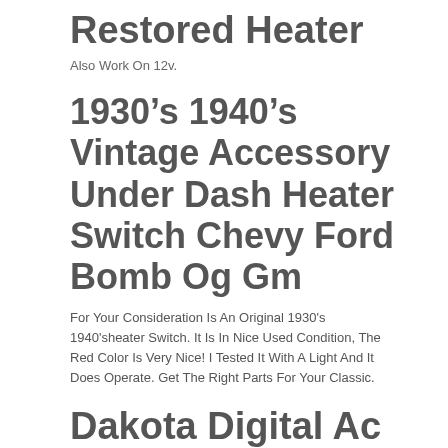Restored Heater
Also Work On 12v.
1930’s 1940’s Vintage Accessory Under Dash Heater Switch Chevy Ford Bomb Og Gm
For Your Consideration Is An Original 1930's 1940'sheater Switch. It Is In Nice Used Condition, The Red Color Is Very Nice! I Tested It With A Light And It Does Operate. Get The Right Parts For Your Classic.
Dakota Digital Ac